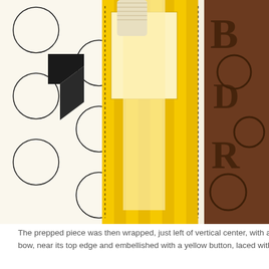[Figure (photo): Close-up photo of craft/scrapbooking materials including yellow and brown decorative papers, circular cutouts, striped paper, and wooden elements arranged in a box or tray.]
The prepped piece was then wrapped, just left of vertical center, with a length of ribbon, tied in a bow, near its top edge and embellished with a yellow button, laced with a co...
[Figure (photo): Close-up photo of craft materials including yellow and white striped paper, burlap/linen fabric, a large yellow wooden button with twine, brown patterned paper with circles, and a tag with handwritten script reading 'liste.' arranged in a wooden tray.]